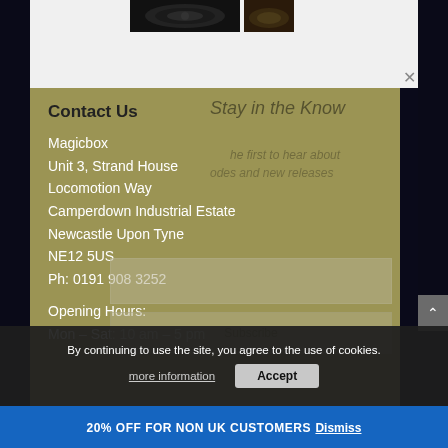[Figure (photo): Product images (dark speakers/electronics) at top of page]
Contact Us
Magicbox
Unit 3, Strand House
Locomotion Way
Camperdown Industrial Estate
Newcastle Upon Tyne
NE12 5US
Ph: 0191 908 3252
Opening Hours:
Mon – Sat: 10 am – 5 pm
By continuing to use the site, you agree to the use of cookies.
more information
Accept
20% OFF FOR NON UK CUSTOMERS Dismiss